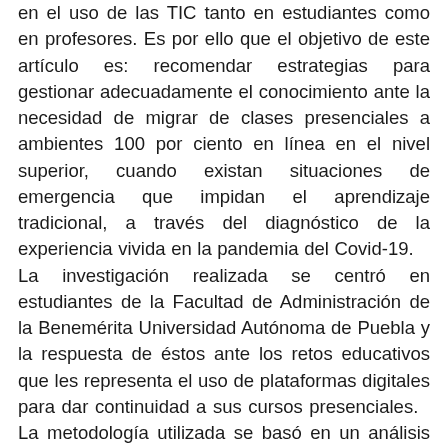en el uso de las TIC tanto en estudiantes como en profesores. Es por ello que el objetivo de este artículo es: recomendar estrategias para gestionar adecuadamente el conocimiento ante la necesidad de migrar de clases presenciales a ambientes 100 por ciento en línea en el nivel superior, cuando existan situaciones de emergencia que impidan el aprendizaje tradicional, a través del diagnóstico de la experiencia vivida en la pandemia del Covid-19.    La investigación realizada se centró en estudiantes de la Facultad de Administración de la Benemérita Universidad Autónoma de Puebla y la respuesta de éstos ante los retos educativos que les representa el uso de plataformas digitales para dar continuidad a sus cursos presenciales.    La metodología utilizada se basó en un análisis experimental-cualitativo,  con apoyo de la